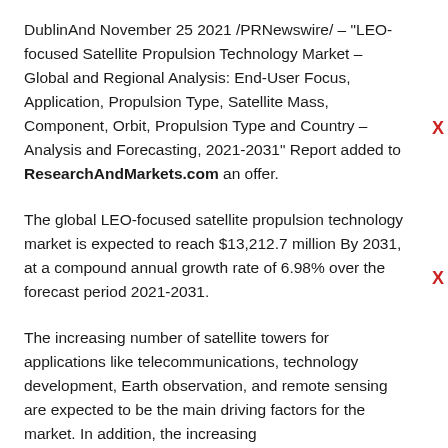DublinAnd November 25 2021 /PRNewswire/ – "LEO-focused Satellite Propulsion Technology Market – Global and Regional Analysis: End-User Focus, Application, Propulsion Type, Satellite Mass, Component, Orbit, Propulsion Type and Country – Analysis and Forecasting, 2021-2031" Report added to ResearchAndMarkets.com an offer.
The global LEO-focused satellite propulsion technology market is expected to reach $13,212.7 million By 2031, at a compound annual growth rate of 6.98% over the forecast period 2021-2031.
The increasing number of satellite towers for applications like telecommunications, technology development, Earth observation, and remote sensing are expected to be the main driving factors for the market. In addition, the increasing